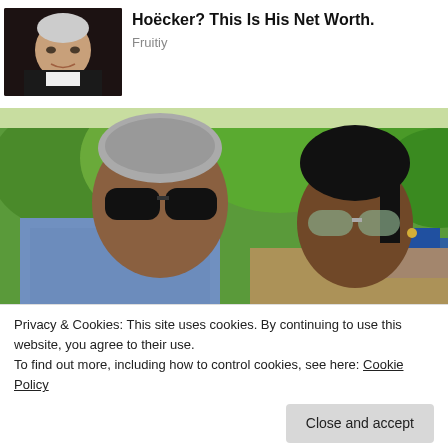[Figure (photo): Headshot of a man in a black jacket and white shirt, smiling, against a dark background]
Hoëcker? This Is His Net Worth.
Fruitiy
[Figure (photo): Two people posing outdoors with sunglasses, with lush green trees and rooftops in the background]
Privacy & Cookies: This site uses cookies. By continuing to use this website, you agree to their use.
To find out more, including how to control cookies, see here: Cookie Policy
Close and accept
House. Take A Look Inside